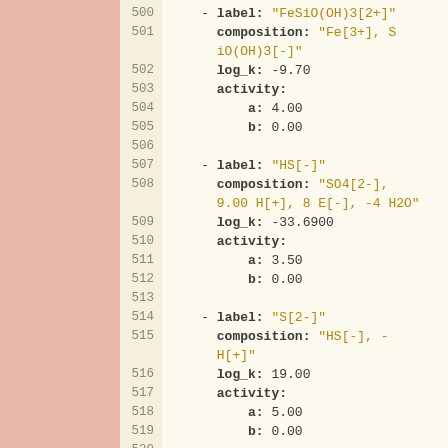Code listing lines 500-521 showing YAML/config entries for chemical species FeSiO(OH)3[2+], HS[-], S[2-], and H2S(aq) with label, composition, log_k, and activity (a, b) fields.